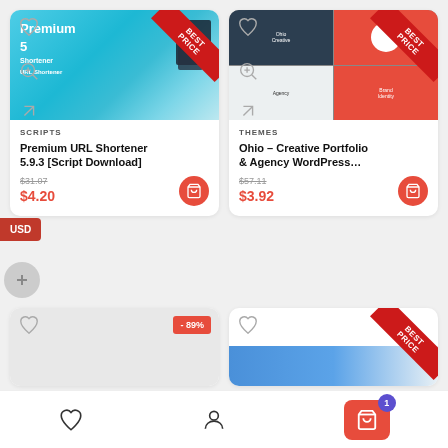[Figure (screenshot): Product card: Premium URL Shortener 5.9.3 [Script Download] - SCRIPTS category, original price $31.07, sale price $4.20, BEST PRICE ribbon]
[Figure (screenshot): Product card: Ohio - Creative Portfolio & Agency WordPress... - THEMES category, original price $57.11, sale price $3.92, BEST PRICE ribbon]
[Figure (screenshot): Partial product card bottom-left with -89% discount badge]
[Figure (screenshot): Partial product card bottom-right with BEST PRICE ribbon and blue bar chart image]